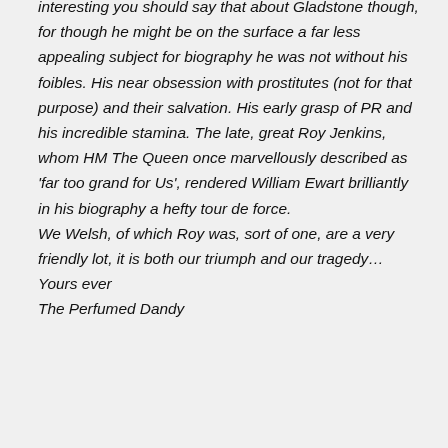interesting you should say that about Gladstone though, for though he might be on the surface a far less appealing subject for biography he was not without his foibles. His near obsession with prostitutes (not for that purpose) and their salvation. His early grasp of PR and his incredible stamina. The late, great Roy Jenkins, whom HM The Queen once marvellously described as 'far too grand for Us', rendered William Ewart brilliantly in his biography a hefty tour de force.
We Welsh, of which Roy was, sort of one, are a very friendly lot, it is both our triumph and our tragedy…
Yours ever
The Perfumed Dandy